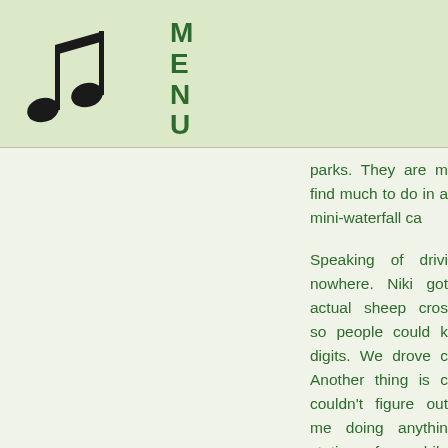MENU
parks. They are m... find much to do in... a mini-waterfall ca...
Speaking of drivi... nowhere. Niki got... actual sheep cros... so people could k... digits. We drove c... Another thing is c... couldn't figure out... me doing anythin... stations for awhile... Lavigne, Billy Joel...